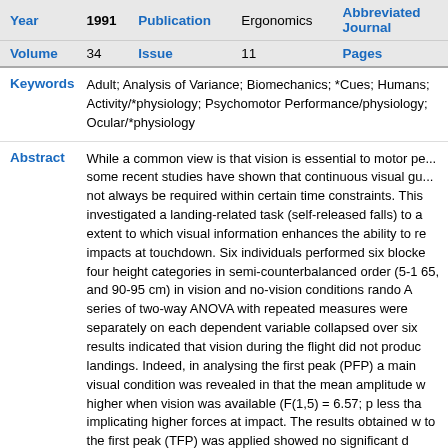| Year | 1991 | Publication | Ergonomics | Abbreviated Journal |
| --- | --- | --- | --- | --- |
| Volume | 34 | Issue | 11 | Pages |
Keywords: Adult; Analysis of Variance; Biomechanics; *Cues; Humans; Activity/*physiology; Psychomotor Performance/physiology; Ocular/*physiology
Abstract: While a common view is that vision is essential to motor performance, some recent studies have shown that continuous visual guidance may not always be required within certain time constraints. This study investigated a landing-related task (self-released falls) to assess the extent to which visual information enhances the ability to reduce impacts at touchdown. Six individuals performed six blocks of trials at four height categories in semi-counterbalanced order (5-10, 35-40, 65, and 90-95 cm) in vision and no-vision conditions randomly mixed. A series of two-way ANOVA with repeated measures were applied separately on each dependent variable collapsed over six trials. The results indicated that vision during the flight did not produce softer landings. Indeed, in analysing the first peak (PFP) a main effect of visual condition was revealed in that the mean amplitude was higher when vision was available (F(1,5) = 6.57; p less than .05), implicating higher forces at impact. The results obtained when time to the first peak (TFP) was applied showed no significant difference between conditions (F(1,5) less than 1). As expected, in all cases analyses yielded significant main effects for the height categories. It appears that during self-initiated falls in which the environment is known before the event, visual guidance is not necessary to adopt a softer landing strategy.
Address: Research Department, Wingate Institute, Israel